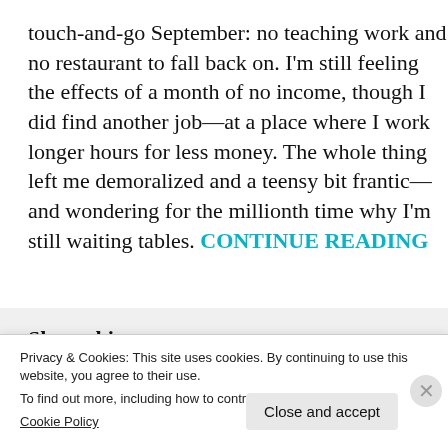touch-and-go September: no teaching work and no restaurant to fall back on. I'm still feeling the effects of a month of no income, though I did find another job—at a place where I work longer hours for less money. The whole thing left me demoralized and a teensy bit frantic—and wondering for the millionth time why I'm still waiting tables. CONTINUE READING
Share this:
[Figure (other): Social share icons: Twitter (blue circle), Facebook (dark blue circle), more options (grey circle), and a share button]
Privacy & Cookies: This site uses cookies. By continuing to use this website, you agree to their use.
To find out more, including how to control cookies, see here:
Cookie Policy